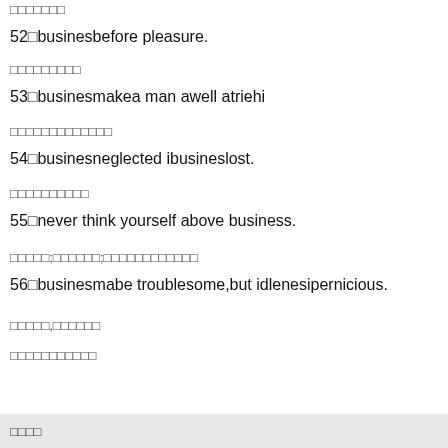□□□□□□□
52□businesbefore pleasure.
□□□□□□□□□
53□businesmakea man awell atriehi
□□□□□□□□□□□□□
54□businesneglected ibusineslost.
□□□□□□□□□□
55□never think yourself above business.
□□□□□;□□□□□□;□□□□□□□□□□□□
56□businesmabe troublesome,but idlenesipernicious.
□□□□□,□□□□□□
□□□□□□□□□□□
□□□□